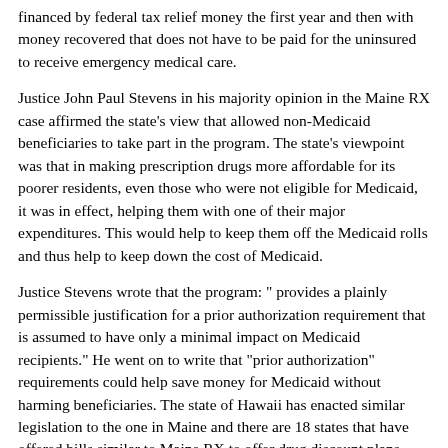financed by federal tax relief money the first year and then with money recovered that does not have to be paid for the uninsured to receive emergency medical care.
Justice John Paul Stevens in his majority opinion in the Maine RX case affirmed the state's view that allowed non-Medicaid beneficiaries to take part in the program. The state's viewpoint was that in making prescription drugs more affordable for its poorer residents, even those who were not eligible for Medicaid, it was in effect, helping them with one of their major expenditures. This would help to keep them off the Medicaid rolls and thus help to keep down the cost of Medicaid.
Justice Stevens wrote that the program: " provides a plainly permissible justification for a prior authorization requirement that is assumed to have only a minimal impact on Medicaid recipients." He went on to write that "prior authorization" requirements could help save money for Medicaid without harming beneficiaries. The state of Hawaii has enacted similar legislation to the one in Maine and there are 18 states that have offered bills similar to Maine RX to offer drug discount plans. The states where similar programs are pending are: Col., Flo., Geo., Ill., Ind., Mass., Mich., Minn., Mississippi, Missouri, N.J., N.Y., Oh., R.I., Tenn., Tex., Vt., and Va.